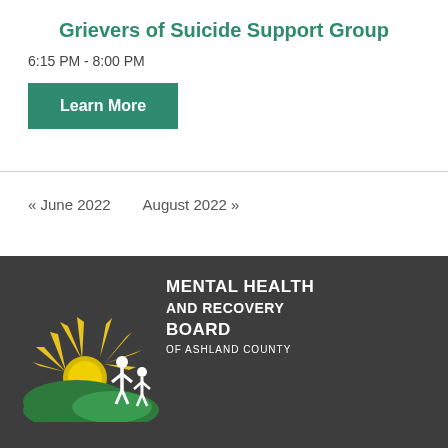Grievers of Suicide Support Group
6:15 PM - 8:00 PM
Learn More
« June 2022    August 2022 »
[Figure (logo): Mental Health and Recovery Board of Ashland County logo with sun, hills, and human figures on dark gray background]